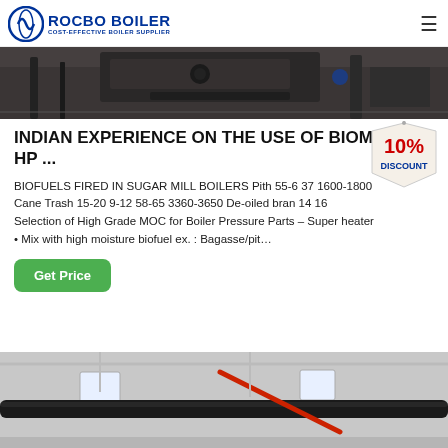ROCBO BOILER — COST-EFFECTIVE BOILER SUPPLIER
[Figure (photo): Industrial boiler machinery photo from above, showing pipes and equipment in dark industrial setting]
INDIAN EXPERIENCE ON THE USE OF BIOMASS IN HP ...
BIOFUELS FIRED IN SUGAR MILL BOILERS Pith 55-6 37 1600-1800 Cane Trash 15-20 9-12 58-65 3360-3650 De-oiled bran 14 16 Selection of High Grade MOC for Boiler Pressure Parts – Super heater • Mix with high moisture biofuel ex. : Bagasse/pit…
[Figure (other): 10% DISCOUNT badge/label graphic in red and blue]
[Figure (photo): Industrial boiler room interior showing pipes, fixtures and ceiling infrastructure]